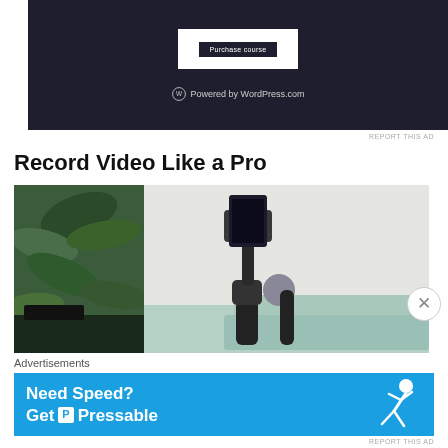[Figure (screenshot): Dark-themed WordPress course page showing a 'Purchase course' button and 'Powered by WordPress.com' branding at the bottom]
REPORT THIS AD
Record Video Like a Pro
[Figure (photo): A gimbal stabilizer holding a smartphone or tablet, placed on a desk near a green plant and a light-colored sofa background]
Advertisements
[Figure (infographic): Blue advertisement banner reading 'Need Speed? Get P Pressable' with a running figure graphic]